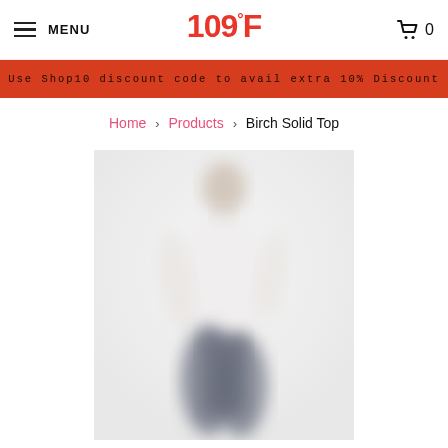MENU | 109°F | 0
Use Shop10 discount code to avail extra 10% Discount
Home > Products > Birch Solid Top
[Figure (photo): A blurred/out-of-focus photo of a woman wearing a white top and dark jeans, shown from head to lower body, serving as a product image for the Birch Solid Top.]